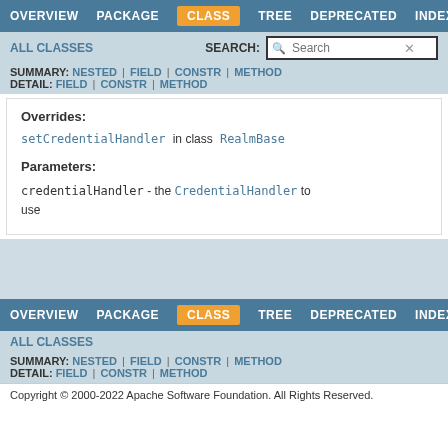OVERVIEW | PACKAGE | CLASS | TREE | DEPRECATED | INDEX
ALL CLASSES  SEARCH: Search
SUMMARY: NESTED | FIELD | CONSTR | METHOD  DETAIL: FIELD | CONSTR | METHOD
Overrides:
setCredentialHandler in class RealmBase
Parameters:
credentialHandler - the CredentialHandler to use
OVERVIEW | PACKAGE | CLASS | TREE | DEPRECATED | INDEX
ALL CLASSES
SUMMARY: NESTED | FIELD | CONSTR | METHOD  DETAIL: FIELD | CONSTR | METHOD
Copyright © 2000-2022 Apache Software Foundation. All Rights Reserved.